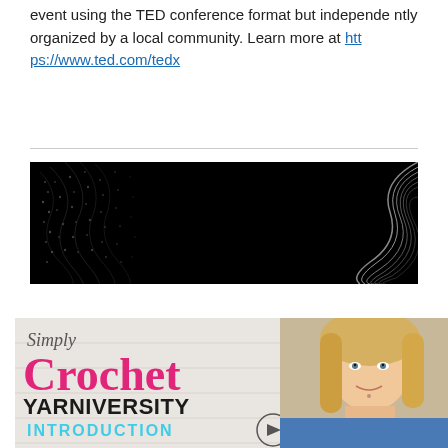event using the TED conference format but independently organized by a local community. Learn more at https://www.ted.com/tedx
[Figure (illustration): Dark abstract banner image with black background and wavy dot/line patterns on left and right sides]
[Figure (illustration): Simply Crochet Yarniversity Introduction banner with pink and black logo text, cyan subtitle, play button icon, and a blonde woman smiling on the right side]